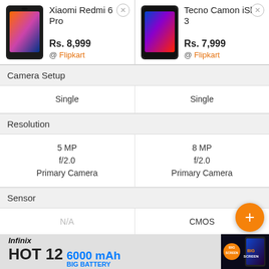[Figure (screenshot): Product comparison page showing Xiaomi Redmi 6 Pro vs Tecno Camon iSky 3 with pricing and camera specs]
| Xiaomi Redmi 6 Pro | Tecno Camon iSky 3 |
| --- | --- |
| Rs. 8,999 @ Flipkart | Rs. 7,999 @ Flipkart |
| Camera Setup | Camera Setup |
| Single | Single |
| Resolution | Resolution |
| 5 MP
f/2.0
Primary Camera | 8 MP
f/2.0
Primary Camera |
| Sensor | Sensor |
| N/A | CMOS |
| Flash | Flash |
| N/A | Yes
LED Flash |
[Figure (photo): Infinix HOT 12 advertisement banner — 6000 mAh Big Battery, Big Screen]